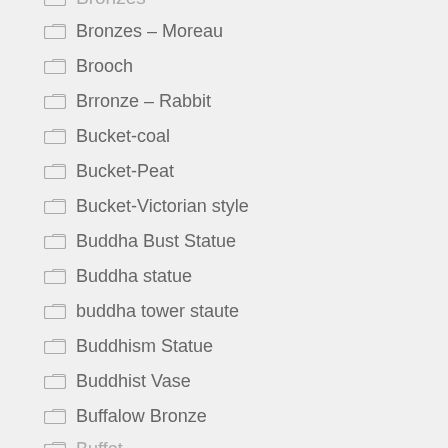Bronzes – Moreau
Brooch
Brronze – Rabbit
Bucket-coal
Bucket-Peat
Bucket-Victorian style
Buddha Bust Statue
Buddha statue
buddha tower staute
Buddhism Statue
Buddhist Vase
Buffalow Bronze
Buffot